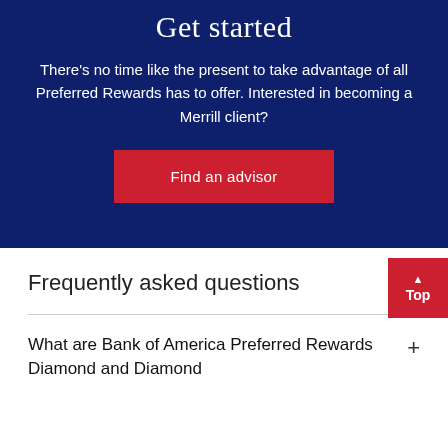Get started
There’s no time like the present to take advantage of all Preferred Rewards has to offer. Interested in becoming a Merrill client?
Find an advisor
Frequently asked questions
Top
What are Bank of America Preferred Rewards Diamond and Diamond